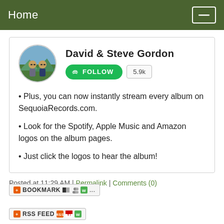Home
[Figure (photo): Circular profile photo of David & Steve Gordon, two men outdoors]
David & Steve Gordon
FOLLOW | 5.9k
Plus, you can now instantly stream every album on SequoiaRecords.com.
Look for the Spotify, Apple Music and Amazon logos on the album pages.
Just click the logos to hear the album!
Posted at 11:29 AM | Permalink | Comments (0)
[Figure (screenshot): Bookmark widget with icons]
[Figure (screenshot): RSS Feed widget with icons]